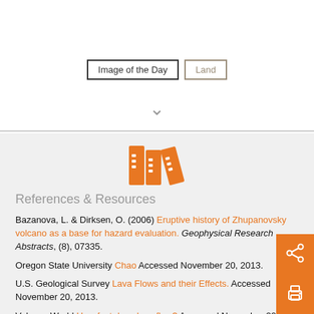[Figure (screenshot): Two buttons: 'Image of the Day' with black border and 'Land' with tan/brown border, followed by a downward chevron arrow]
[Figure (illustration): Orange books/binders icon representing a library or references section]
References & Resources
Bazanova, L. & Dirksen, O. (2006) Eruptive history of Zhupanovsky volcano as a base for hazard evaluation. Geophysical Research Abstracts, (8), 07335.
Oregon State University Chao Accessed November 20, 2013.
U.S. Geological Survey Lava Flows and their Effects. Accessed November 20, 2013.
Volcano World How fast does lava flow? Accessed November 2013.
Wired Identifying Lava Flow Features. Accessed November 20,